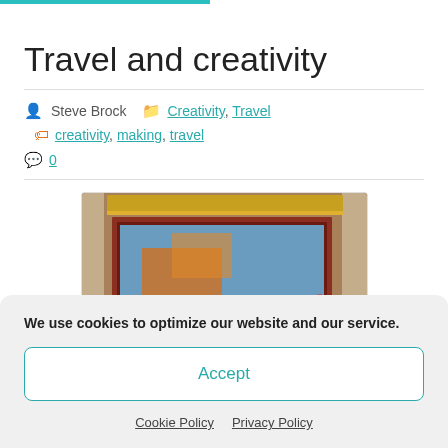Travel and creativity
Steve Brock  Creativity, Travel  creativity, making, travel  0
[Figure (photo): A photograph showing framed paintings hung on a stone or brick wall, with ornate gold and red frames visible, and people gathered below.]
We use cookies to optimize our website and our service.
Accept
Cookie Policy  Privacy Policy